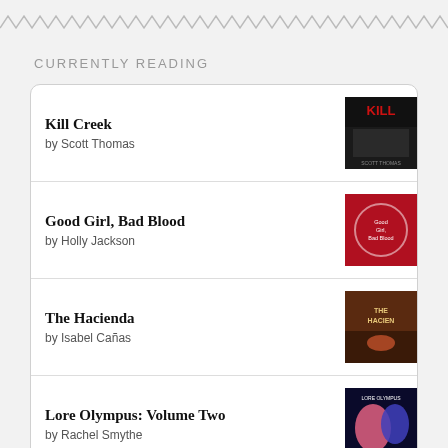[Figure (illustration): Zigzag/wavy decorative border line in grey at top of page]
CURRENTLY READING
Kill Creek by Scott Thomas
Good Girl, Bad Blood by Holly Jackson
The Hacienda by Isabel Cañas
Lore Olympus: Volume Two by Rachel Smythe
Lore Olympus, Season 1 by NOT A BOOK